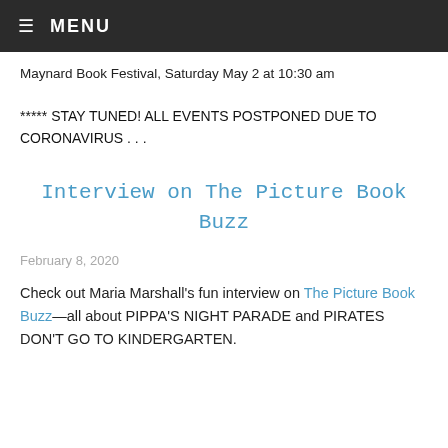≡ MENU
Maynard Book Festival, Saturday May 2 at 10:30 am
***** STAY TUNED! ALL EVENTS POSTPONED DUE TO CORONAVIRUS . . .
Interview on The Picture Book Buzz
February 8, 2020
Check out Maria Marshall's fun interview on The Picture Book Buzz—all about PIPPA'S NIGHT PARADE and PIRATES DON'T GO TO KINDERGARTEN.